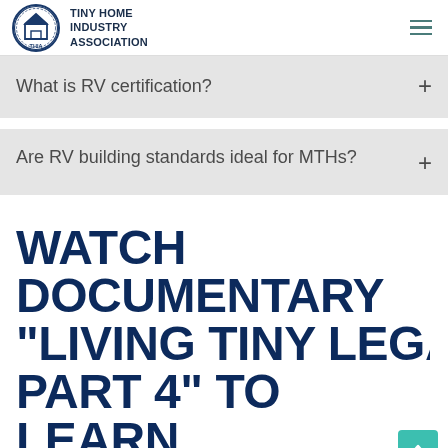TINY HOME INDUSTRY ASSOCIATION
What is RV certification?
Are RV building standards ideal for MTHs?
WATCH DOCUMENTARY "LIVING TINY LEGALLY PART 4" TO LEARN